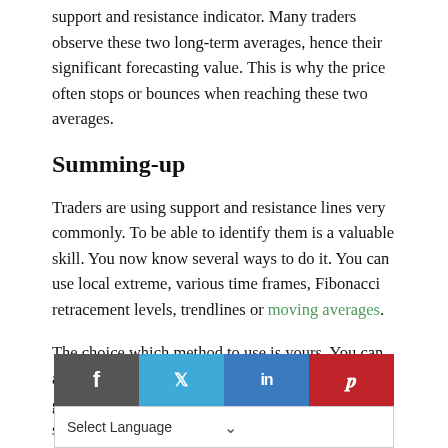support and resistance indicator. Many traders observe these two long-term averages, hence their significant forecasting value. This is why the price often stops or bounces when reaching these two averages.
Summing-up
Traders are using support and resistance lines very commonly. To be able to identify them is a valuable skill. You now know several ways to do it. You can use local extreme, various time frames, Fibonacci retracement levels, trendlines or moving averages.
The choice which method to use is yours. You can also try a few at the same time. Like this you will get a confirmation where resistance will be stronger.